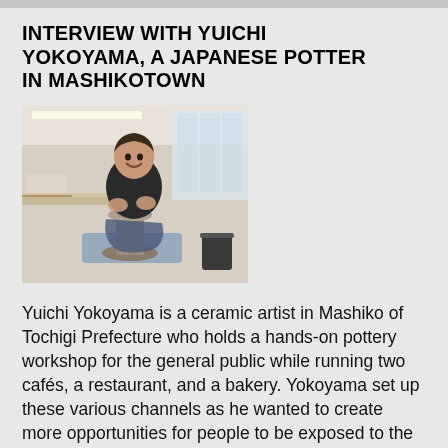INTERVIEW WITH YUICHI YOKOYAMA, A JAPANESE POTTER IN MASHIKOTOWN
[Figure (photo): A man in a dark polo shirt working at a pottery wheel in a studio, shaping clay. He is seated cross-legged on the floor in front of the wheel, smiling. The background shows a bright workshop space with tables and shelving.]
Yuichi Yokoyama is a ceramic artist in Mashiko of Tochigi Prefecture who holds a hands-on pottery workshop for the general public while running two cafés, a restaurant, and a bakery. Yokoyama set up these various channels as he wanted to create more opportunities for people to be exposed to the art of pottery. We spoke to Yokoyama about his